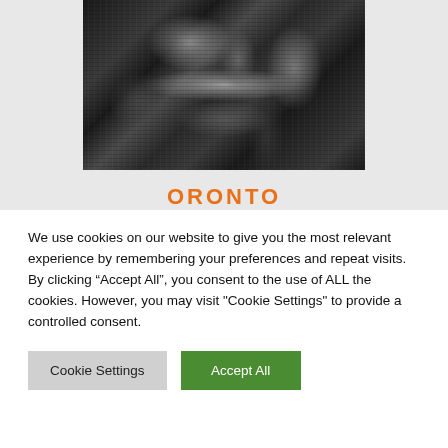[Figure (photo): Black and white photograph of a band performing on stage, showing musicians including a drummer and guitarist/vocalist in concert setting]
ORONTO
We use cookies on our website to give you the most relevant experience by remembering your preferences and repeat visits. By clicking “Accept All”, you consent to the use of ALL the cookies. However, you may visit "Cookie Settings" to provide a controlled consent.
Cookie Settings
Accept All